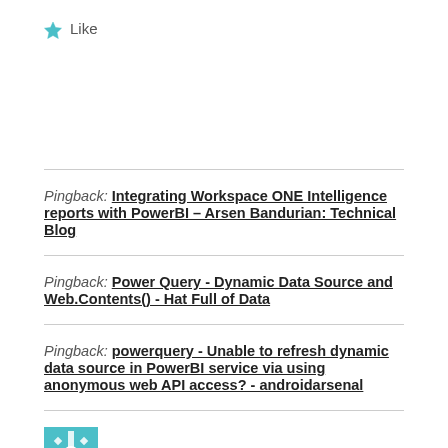Like
Pingback: Integrating Workspace ONE Intelligence reports with PowerBI – Arsen Bandurian: Technical Blog
Pingback: Power Query - Dynamic Data Source and Web.Contents() - Hat Full of Data
Pingback: powerquery - Unable to refresh dynamic data source in PowerBI service via using anonymous web API access? - androidarsenal
Sunil Kumar Tak says: REPLY